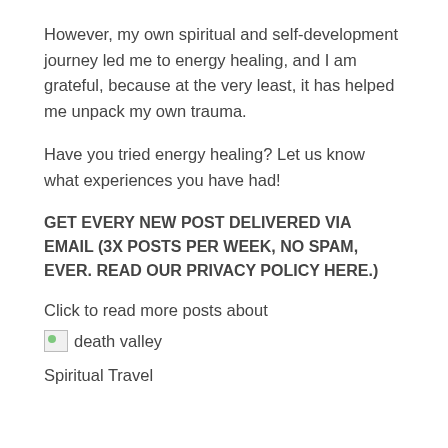However, my own spiritual and self-development journey led me to energy healing, and I am grateful, because at the very least, it has helped me unpack my own trauma.
Have you tried energy healing? Let us know what experiences you have had!
GET EVERY NEW POST DELIVERED VIA EMAIL (3X POSTS PER WEEK, NO SPAM, EVER. READ OUR PRIVACY POLICY HERE.)
Click to read more posts about
[Figure (photo): Broken image placeholder with alt text 'death valley']
Spiritual Travel